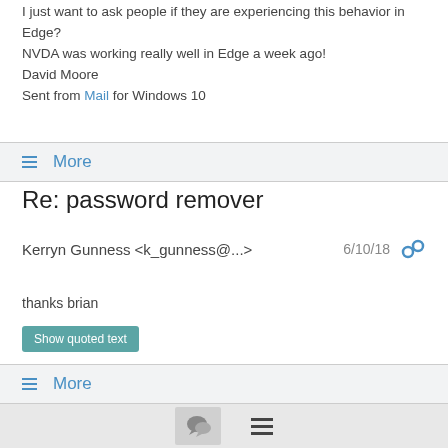I just want to ask people if they are experiencing this behavior in Edge?
NVDA was working really well in Edge a week ago!
David Moore
Sent from Mail for Windows 10
≡ More
Re: password remover
Kerryn Gunness <k_gunness@...>   6/10/18
thanks brian
Show quoted text
≡ More
[Figure (other): Bottom navigation bar with chat/comments icon button and hamburger menu icon]